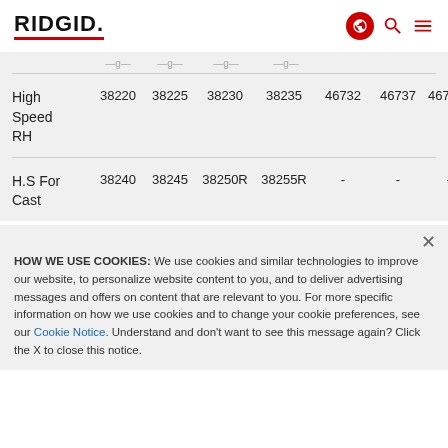RIDGID
|  |  |  |  |  |  |  |  |
| --- | --- | --- | --- | --- | --- | --- | --- |
| High Speed RH | 38220 | 38225 | 38230 | 38235 | 46732 | 46737 | 4674… |
| H.S For Cast | 38240 | 38245 | 38250R | 38255R | - | - | - |
HOW WE USE COOKIES: We use cookies and similar technologies to improve our website, to personalize website content to you, and to deliver advertising messages and offers on content that are relevant to you. For more specific information on how we use cookies and to change your cookie preferences, see our Cookie Notice. Understand and don't want to see this message again? Click the X to close this notice.